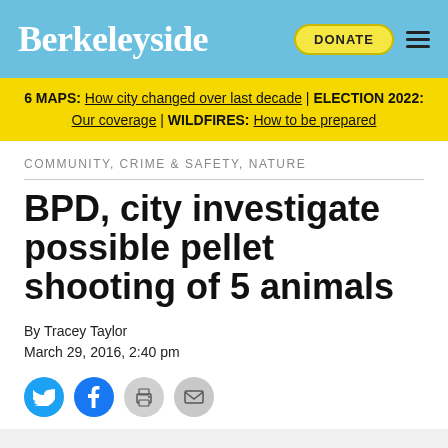Berkeleyside
6 MAPS: How city changed over last decade | ELECTION 2022: Our coverage | WILDFIRES: How to be prepared
COMMUNITY, CRIME & SAFETY, NATURE
BPD, city investigate possible pellet shooting of 5 animals
By Tracey Taylor
March 29, 2016, 2:40 pm